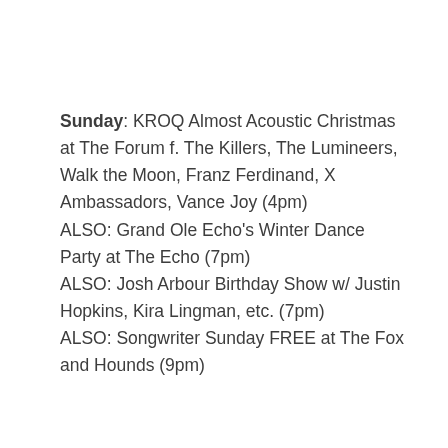Sunday: KROQ Almost Acoustic Christmas at The Forum f. The Killers, The Lumineers, Walk the Moon, Franz Ferdinand, X Ambassadors, Vance Joy (4pm)
ALSO: Grand Ole Echo's Winter Dance Party at The Echo (7pm)
ALSO: Josh Arbour Birthday Show w/ Justin Hopkins, Kira Lingman, etc. (7pm)
ALSO: Songwriter Sunday FREE at The Fox and Hounds (9pm)